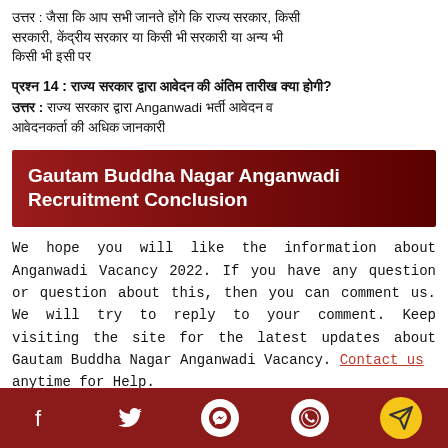उत्तर : जैसा कि आप सभी जानते होंगे कि राज्य सरकार, केंद्रीय सरकार या किसी भी सरकारी या अन्य के बारे में
प्रश्न 14 : राज्य सरकार द्वारा आवेदन की अंतिम तारीख क्या होगी?
उत्तर : राज्य सरकार द्वारा Anganwadi भर्ती आवेदन व आवेदनकर्ता की अधिक जानकारी
Gautam Buddha Nagar Anganwadi Recruitment Conclusion
We hope you will like the information about Anganwadi Vacancy 2022. If you have any question or question about this, then you can comment us. We will try to reply to your comment. Keep visiting the site for the latest updates about Gautam Buddha Nagar Anganwadi Vacancy. Contact us anytime for Help.